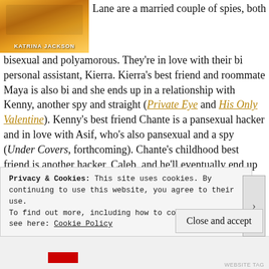[Figure (photo): Book cover image with orange/yellow tones and text 'KATRINA JACKSON' at bottom]
Lane are a married couple of spies, both bisexual and polyamorous. They're in love with their bi personal assistant, Kierra. Kierra's best friend and roommate Maya is also bi and she ends up in a relationship with Kenny, another spy and straight (Private Eye and His Only Valentine). Kenny's best friend Chante is a pansexual hacker and in love with Asif, who's also pansexual and a spy (Under Covers, forthcoming). Chante's childhood best friend is another hacker, Caleb, and he'll eventually end up with a somber DEA agent, Lamont – both gay – who's Kenny's former partner (Bang & Burn and Brush Contact, forthcoming). In New Year, New We, Monica, Lane and Kierra h… s… .
Privacy & Cookies: This site uses cookies. By continuing to use this website, you agree to their use. To find out more, including how to control cookies, see here: Cookie Policy
Close and accept